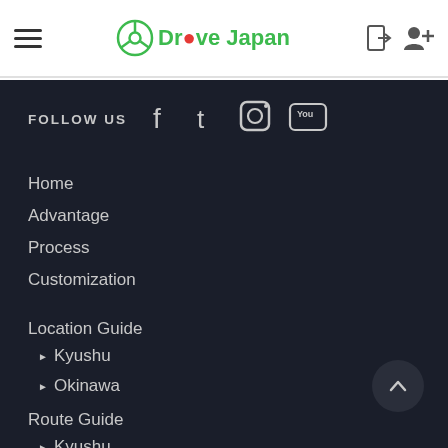DriveJapan - navigation header with hamburger menu, logo, login and register icons
FOLLOW US
[Figure (other): Social media icons: Facebook, Twitter, Instagram, YouTube]
Home
Advantage
Process
Customization
Location Guide
▶ Kyushu
▶ Okinawa
Route Guide
▶ Kyushu
▶ Okinawa
Special Route